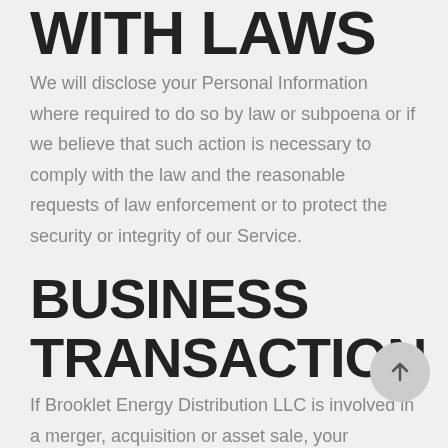WITH LAWS
We will disclose your Personal Information where required to do so by law or subpoena or if we believe that such action is necessary to comply with the law and the reasonable requests of law enforcement or to protect the security or integrity of our Service.
BUSINESS TRANSACTION
If Brooklet Energy Distribution LLC is involved in a merger, acquisition or asset sale, your Personal Information may be transferred as a business asset. In such cases, we will provide notice before your Personal Information is transferred